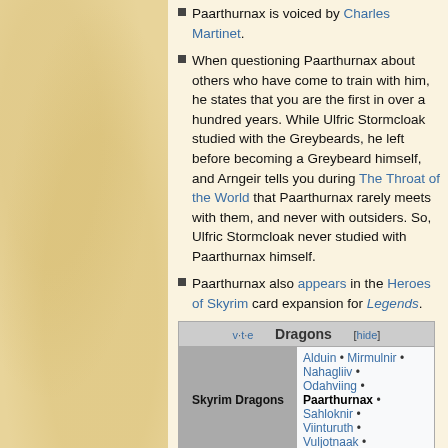Paarthurnax is voiced by Charles Martinet.
When questioning Paarthurnax about others who have come to train with him, he states that you are the first in over a hundred years. While Ulfric Stormcloak studied with the Greybeards, he left before becoming a Greybeard himself, and Arngeir tells you during The Throat of the World that Paarthurnax rarely meets with them, and never with outsiders. So, Ulfric Stormcloak never studied with Paarthurnax himself.
Paarthurnax also appears in the Heroes of Skyrim card expansion for Legends.
| v·t·e | Dragons | [hide] |
| --- | --- | --- |
| Skyrim Dragons | Alduin • Mirmulnir • Nahagliiv • Odahviing • Paarthurnax • Sahloknir • Viinturuth • Vuljotnaak • |